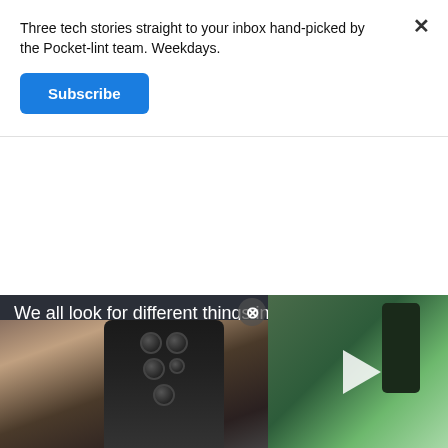Three tech stories straight to your inbox hand-picked by the Pocket-lint team. Weekdays.
Subscribe
We all look for different things in a smartphone. Maybe you need top gaming performance, or maybe your top priority is camera quality. With that in mind, we've also selected for you to consider.
[Figure (photo): Video thumbnail showing a smartphone screen with green background and play button overlay]
[Figure (photo): Close-up photo of the back of a black Samsung Galaxy S22 Ultra smartphone showing its camera module, alongside a blurred background scene]